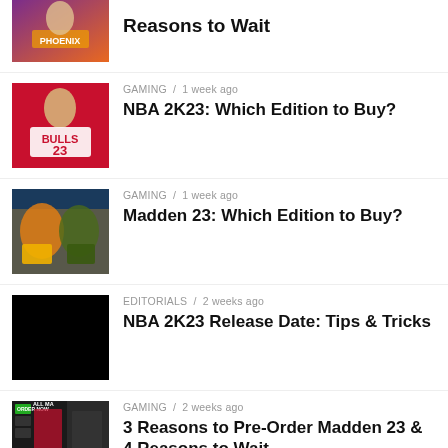[Figure (photo): Basketball player in Phoenix Suns jersey (partial, top)]
Reasons to Wait
[Figure (photo): Basketball player in Bulls 23 jersey]
GAMING / 1 week ago
NBA 2K23: Which Edition to Buy?
[Figure (photo): Football players (Madden 23 game screenshot)]
GAMING / 1 week ago
Madden 23: Which Edition to Buy?
[Figure (photo): Black/dark image (NBA 2K23 release)]
EDITORIALS / 2 weeks ago
NBA 2K23 Release Date: Tips & Tricks
[Figure (photo): Madden 23 pre-order promotional image with game covers]
GAMING / 2 weeks ago
3 Reasons to Pre-Order Madden 23 & 4 Reasons to Wait
[Figure (photo): Partial thumbnail (bottom of page)]
GAMING / 2 weeks ago